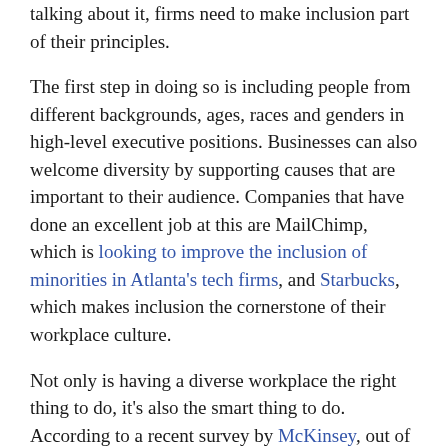talking about it, firms need to make inclusion part of their principles.
The first step in doing so is including people from different backgrounds, ages, races and genders in high-level executive positions. Businesses can also welcome diversity by supporting causes that are important to their audience. Companies that have done an excellent job at this are MailChimp, which is looking to improve the inclusion of minorities in Atlanta's tech firms, and Starbucks, which makes inclusion the cornerstone of their workplace culture.
Not only is having a diverse workplace the right thing to do, it's also the smart thing to do. According to a recent survey by McKinsey, out of 1,000 businesses surveyed, the firms with diverse executive teams reported bigger profits than those who don't. Those with ethnically diverse workforces were 33 percent more likely to have above-average profitability, and gender diversity resulted in above-average profitability of 21 percent.
Being different clearly makes us stronger. How can a